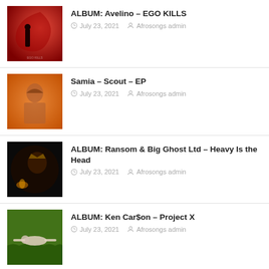[Figure (photo): Album cover for Avelino – EGO KILLS, red abstract design with dark silhouette]
ALBUM: Avelino – EGO KILLS
July 23, 2021   Afrosongs admin
[Figure (photo): Album cover for Samia – Scout – EP, orange-toned portrait of a woman]
Samia – Scout – EP
July 23, 2021   Afrosongs admin
[Figure (photo): Album cover for ALBUM: Ransom & Big Ghost Ltd – Heavy Is the Head, dark moody portrait]
ALBUM: Ransom & Big Ghost Ltd – Heavy Is the Head
July 23, 2021   Afrosongs admin
[Figure (photo): Album cover for ALBUM: Ken Car$on – Project X, person lying on green grass]
ALBUM: Ken Car$on – Project X
July 23, 2021   Afrosongs admin